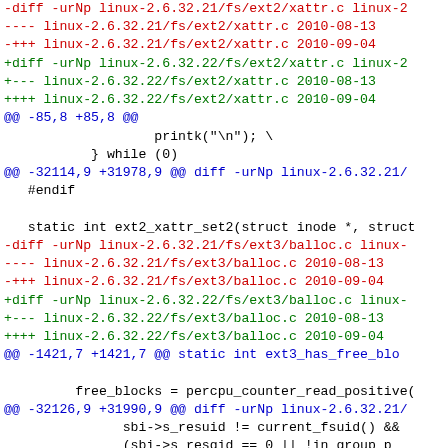Code diff output showing Linux kernel patch for ext2/ext3 filesystem files including xattr.c, balloc.c, and namei.c
[Figure (other): Source code diff showing Linux kernel patch file with colored diff output. Red lines show removed content, green lines show added content, blue lines show hunk headers (@@ markers), and black lines show context lines.]